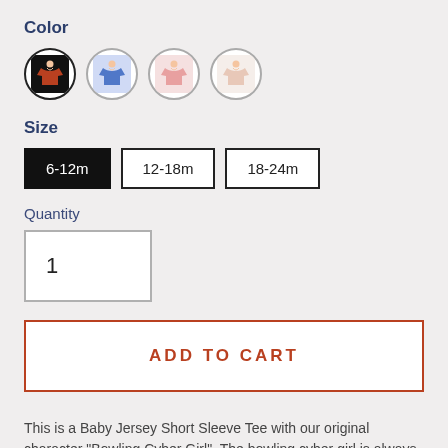Color
[Figure (other): Four circular color swatches showing t-shirt color options: black (selected), blue, pink, and light pink/beige]
Size
[Figure (other): Three size selector buttons: 6-12m (selected, black background), 12-18m, 18-24m]
Quantity
[Figure (other): Quantity input box showing value 1]
ADD TO CART
This is a Baby Jersey Short Sleeve Tee with our original character "Bowling Cyber Girl". The bowling cyber girl is always